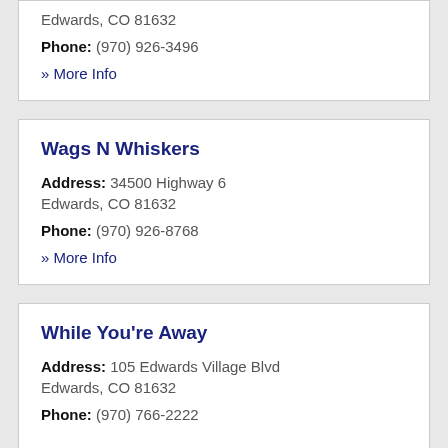Edwards, CO 81632
Phone: (970) 926-3496
» More Info
Wags N Whiskers
Address: 34500 Highway 6
Edwards, CO 81632
Phone: (970) 926-8768
» More Info
While You're Away
Address: 105 Edwards Village Blvd
Edwards, CO 81632
Phone: (970) 766-2222